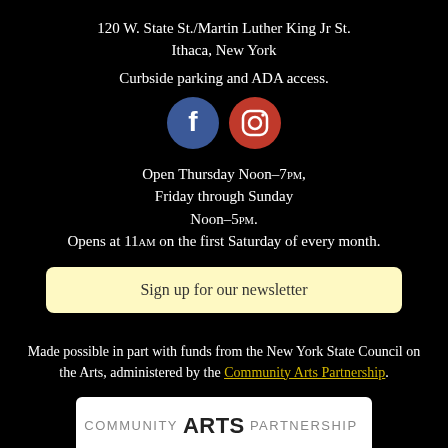120 W. State St./Martin Luther King Jr St.
Ithaca, New York
Curbside parking and ADA access.
[Figure (illustration): Facebook and Instagram social media icons - two circles, blue with F for Facebook and red/orange with Instagram camera icon]
Open Thursday Noon–7pm,
Friday through Sunday
Noon–5pm.
Opens at 11am on the first Saturday of every month.
Sign up for our newsletter
Made possible in part with funds from the New York State Council on the Arts, administered by the Community Arts Partnership.
[Figure (logo): Community Arts Partnership logo with colorful circular icon on right side, text reads COMMUNITY ARTS PARTNERSHIP]